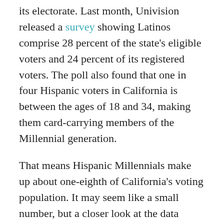its electorate. Last month, Univision released a survey showing Latinos comprise 28 percent of the state's eligible voters and 24 percent of its registered voters. The poll also found that one in four Hispanic voters in California is between the ages of 18 and 34, making them card-carrying members of the Millennial generation.
That means Hispanic Millennials make up about one-eighth of California's voting population. It may seem like a small number, but a closer look at the data reveals this rapidly growing population is much more influential than many think.
“There are 800,000 Latinos reaching voting age every year [nationwide] and engaging them at an earlier age is becoming more and more important, so that a huge part of our country is not left out of the political process,” said Jessica Reeves, Vice